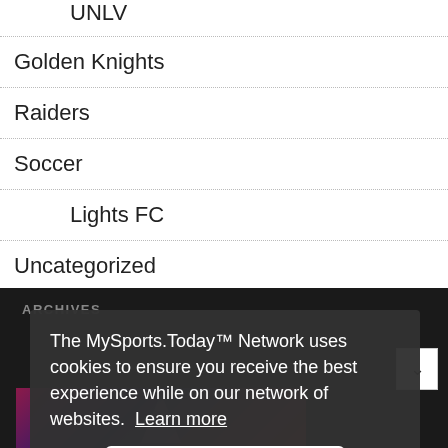UNLV
Golden Knights
Raiders
Soccer
Lights FC
Uncategorized
ARCHIVES
The MySports.Today™ Network uses cookies to ensure you receive the best experience while on our network of websites. Learn more
Got it!